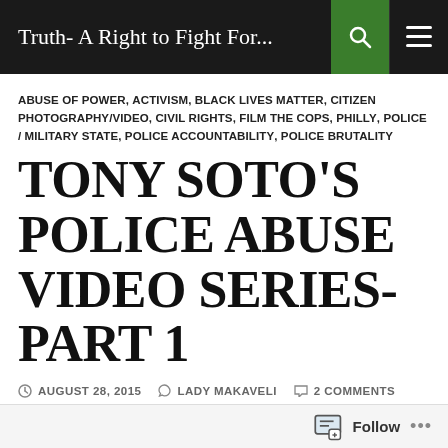Truth- A Right to Fight For...
ABUSE OF POWER, ACTIVISM, BLACK LIVES MATTER, CITIZEN PHOTOGRAPHY/VIDEO, CIVIL RIGHTS, FILM THE COPS, PHILLY, POLICE / MILITARY STATE, POLICE ACCOUNTABILITY, POLICE BRUTALITY
TONY SOTO'S POLICE ABUSE VIDEO SERIES- PART 1
AUGUST 28, 2015   LADY MAKAVELI   2 COMMENTS
"I'm going to set my phone back down before I get shot and they say that I'm reaching for something." Tony says to the camera sitting, waiting and wondering why the cop suddenly, and strangely, decided to move...